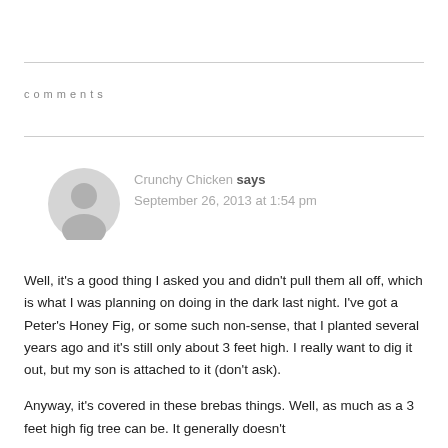comments
Crunchy Chicken says
September 26, 2013 at 1:54 pm
Well, it's a good thing I asked you and didn't pull them all off, which is what I was planning on doing in the dark last night. I've got a Peter's Honey Fig, or some such non-sense, that I planted several years ago and it's still only about 3 feet high. I really want to dig it out, but my son is attached to it (don't ask).
Anyway, it's covered in these brebas things. Well, as much as a 3 feet high fig tree can be. It generally doesn't